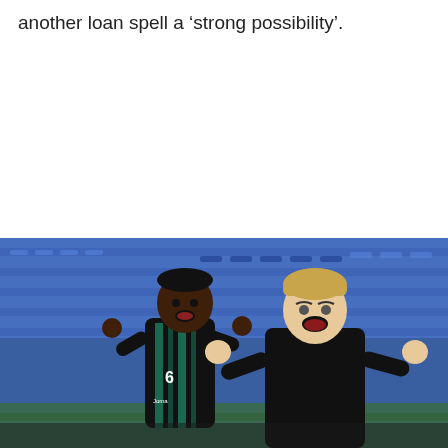another loan spell a 'strong possibility'.
[Figure (photo): Two people celebrating on a football pitch. One is a young Black player wearing a dark Swansea City kit with number 6 and 'Joma' branding, and the other is an older white man with blonde hair wearing an all-black outfit, both with mouths open celebrating with fists raised. Blue stadium seats are visible in the background.]